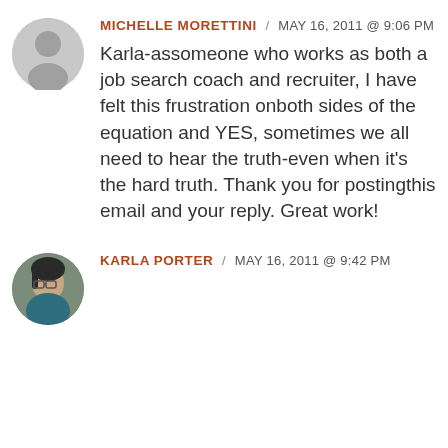[Figure (illustration): Gray circular avatar placeholder with silhouette of a person (head and shoulders)]
MICHELLE MORETTINI / MAY 16, 2011 @ 9:06 PM
Karla-assomeone who works as both a job search coach and recruiter, I have felt this frustration onboth sides of the equation and YES, sometimes we all need to hear the truth-even when it's the hard truth. Thank you for postingthis email and your reply. Great work!
[Figure (photo): Circular photo avatar of Karla Porter, a woman with dark hair and glasses]
KARLA PORTER / MAY 16, 2011 @ 9:42 PM